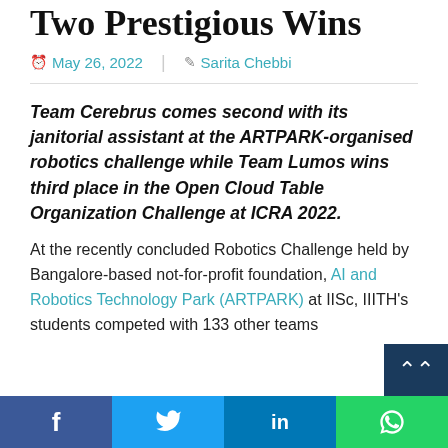Two Prestigious Wins
May 26, 2022 | Sarita Chebbi
Team Cerebrus comes second with its janitorial assistant at the ARTPARK-organised robotics challenge while Team Lumos wins third place in the Open Cloud Table Organization Challenge at ICRA 2022.
At the recently concluded Robotics Challenge held by Bangalore-based not-for-profit foundation, AI and Robotics Technology Park (ARTPARK) at IISc, IIITH's students competed with 133 other teams
f  [Twitter bird]  in  [WhatsApp icon]